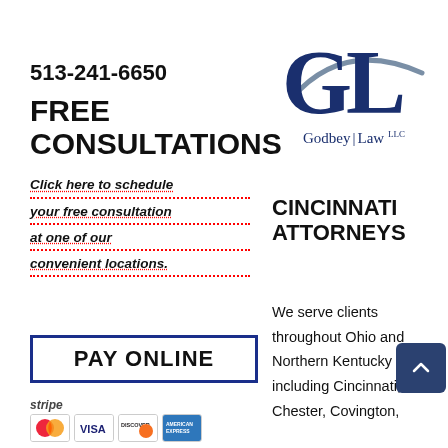513-241-6650
FREE CONSULTATIONS
Click here to schedule your free consultation at one of our convenient locations.
[Figure (logo): Godbey Law LLC logo with large GL letters in dark navy blue and a swoosh arc, with text Godbey Law LLC below]
CINCINNATI ATTORNEYS
We serve clients throughout Ohio and Northern Kentucky including Cincinnati, West Chester, Covington,
PAY ONLINE
[Figure (other): Stripe payment logo with credit card icons: Mastercard, VISA, DISCOVER, AMERICAN EXPRESS]